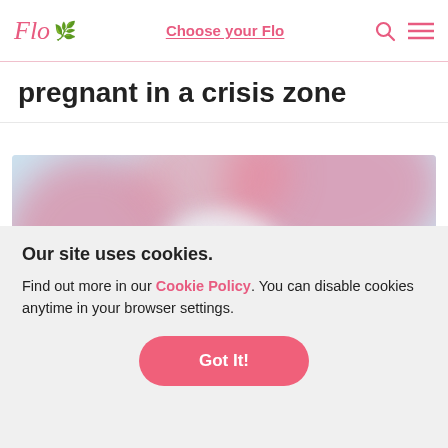Flo — Choose your Flo
pregnant in a crisis zone
[Figure (photo): Blurred/bokeh close-up image with pink and white tones, appears to show a floral or abstract subject on a light blue background]
Our site uses cookies.
Find out more in our Cookie Policy. You can disable cookies anytime in your browser settings.
Got It!